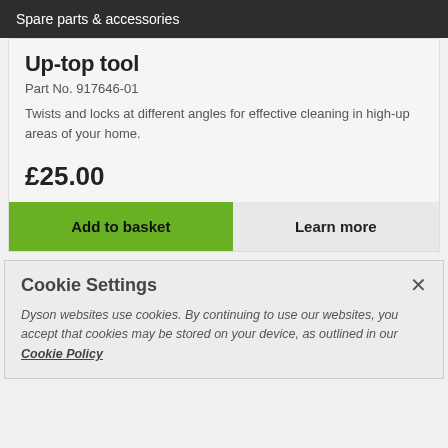Spare parts & accessories
Up-top tool
Part No. 917646-01
Twists and locks at different angles for effective cleaning in high-up areas of your home.
£25.00
Add to basket
Learn more
Cookie Settings
Dyson websites use cookies. By continuing to use our websites, you accept that cookies may be stored on your device, as outlined in our Cookie Policy